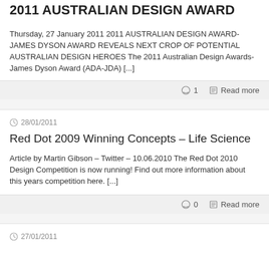2011 AUSTRALIAN DESIGN AWARD
Thursday, 27 January 2011 2011 AUSTRALIAN DESIGN AWARD-JAMES DYSON AWARD REVEALS NEXT CROP OF POTENTIAL AUSTRALIAN DESIGN HEROES The 2011 Australian Design Awards-James Dyson Award (ADA-JDA) [...]
💬 1   📋 Read more
🕐 28/01/2011
Red Dot 2009 Winning Concepts – Life Science
Article by Martin Gibson – Twitter – 10.06.2010 The Red Dot 2010 Design Competition is now running! Find out more information about this years competition here. [...]
💬 0   📋 Read more
🕐 27/01/2011